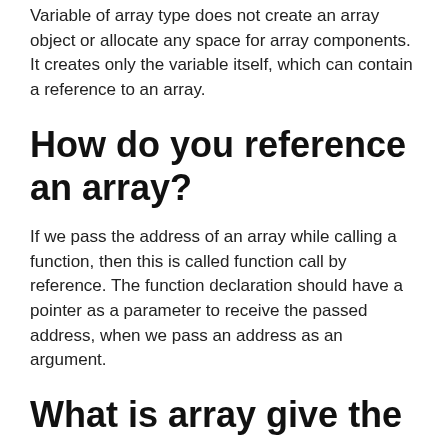Variable of array type does not create an array object or allocate any space for array components. It creates only the variable itself, which can contain a reference to an array.
How do you reference an array?
If we pass the address of an array while calling a function, then this is called function call by reference. The function declaration should have a pointer as a parameter to receive the passed address, when we pass an address as an argument.
What is array give the